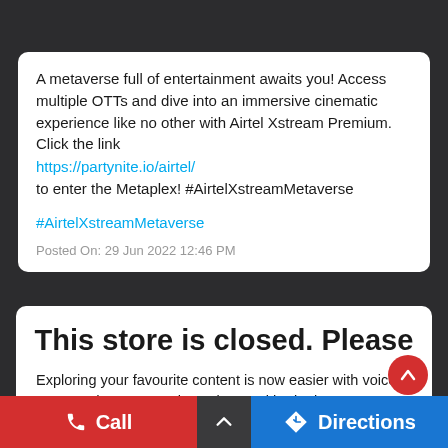A metaverse full of entertainment awaits you! Access multiple OTTs and dive into an immersive cinematic experience like no other with Airtel Xstream Premium. Click the link https://partynite.io/airtel/ to enter the Metaplex! #AirtelXstreamMetaverse
#AirtelXstreamMetaverse
Posted On: 29 Jun 2022 12:46 PM
This store is closed. Please check out the Nearby Stores below
Exploring your favourite content is now easier with voice commands! Get Google Assistant with Airtel Xstream Box remote. Click the link https://bit.ly/3ilqNNd
Call    Directions